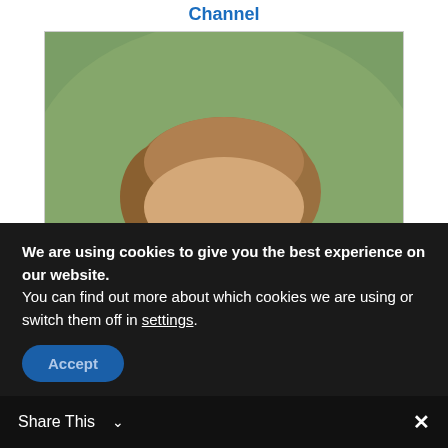Channel
[Figure (photo): Portrait photo of a young teenage boy with light brown hair, wearing a dark jacket, looking directly at the camera. Background is blurred green/outdoor setting.]
The Truth About Donald Trump's Son Is Out Now & We're Surprised
[Figure (photo): Close-up photo of a chocolate bundt cake or circular pastry in a round pan, showing swirled chocolate texture.]
We are using cookies to give you the best experience on our website.
You can find out more about which cookies we are using or switch them off in settings.
Accept
Share This  ✓
✕